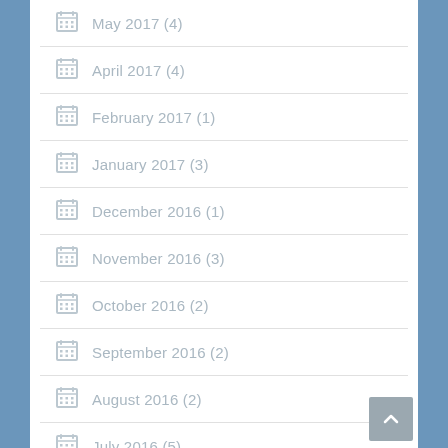May 2017 (4)
April 2017 (4)
February 2017 (1)
January 2017 (3)
December 2016 (1)
November 2016 (3)
October 2016 (2)
September 2016 (2)
August 2016 (2)
July 2016 (5)
June 2016 (4)
May 2016 (5)